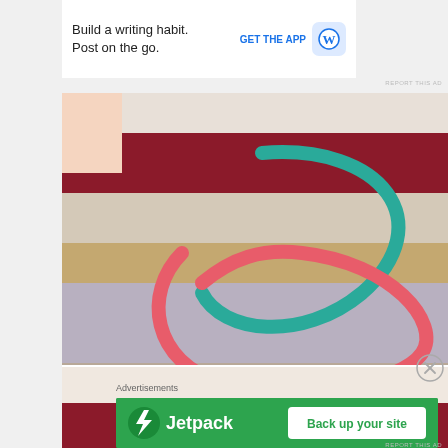[Figure (screenshot): Top advertisement banner for WordPress app: 'Build a writing habit. Post on the go.' with 'GET THE APP' link and WordPress logo icon]
REPORT THIS AD
[Figure (photo): Two close-up photos of crocheted/knitted fabric being held by hands. The top photo has pink and teal arrow/curve annotations drawn over the yarn. The bottom photo shows the same knitting without annotations. Colors include dark red/maroon, cream/white, tan/brown, and lavender/purple yarn.]
[Figure (other): Close circle X button in gray]
Advertisements
[Figure (screenshot): Jetpack advertisement banner with green background, Jetpack logo (lightning bolt), and 'Back up your site' button in white]
REPORT THIS AD